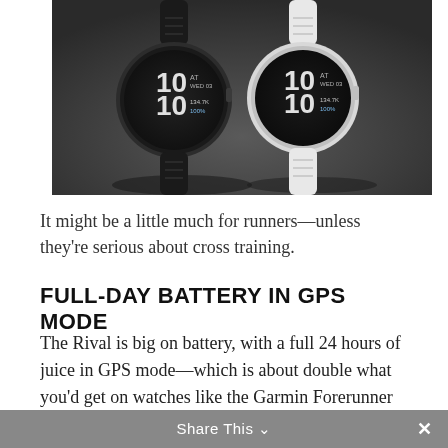[Figure (photo): Two smartwatches side by side on a dark gray background — one with a black band and one with a white band, both displaying '10 10' on their digital faces.]
It might be a little much for runners—unless they're serious about cross training.
FULL-DAY BATTERY IN GPS MODE
The Rival is big on battery, with a full 24 hours of juice in GPS mode—which is about double what you'd get on watches like the Garmin Forerunner 45. But while you'll get a solid
Share This ×